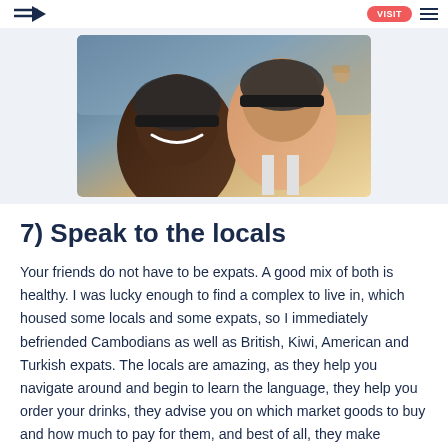Navigation header with logo and menu button
[Figure (photo): Two people wearing helmets on a motorbike, selfie photo, smiling, outdoor setting]
7) Speak to the locals
Your friends do not have to be expats. A good mix of both is healthy. I was lucky enough to find a complex to live in, which housed some locals and some expats, so I immediately befriended Cambodians as well as British, Kiwi, American and Turkish expats. The locals are amazing, as they help you navigate around and begin to learn the language, they help you order your drinks, they advise you on which market goods to buy and how much to pay for them, and best of all, they make